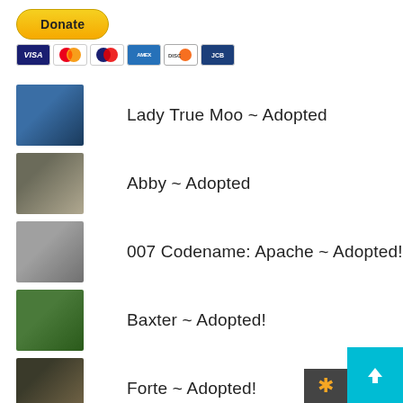[Figure (other): PayPal Donate button (yellow rounded rectangle) with payment card icons below (Visa, Mastercard, Maestro, American Express, Discover, JCB)]
Lady True Moo ~ Adopted
Abby ~ Adopted
007 Codename: Apache ~ Adopted!
Baxter ~ Adopted!
Forte ~ Adopted!
Figaro ~ Adopted!
Prince ~ Adopted!